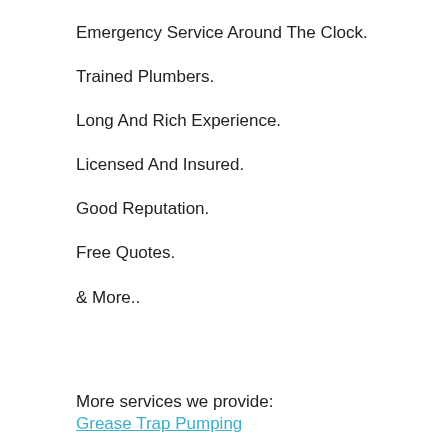Emergency Service Around The Clock.
Trained Plumbers.
Long And Rich Experience.
Licensed And Insured.
Good Reputation.
Free Quotes.
& More..
More services we provide:
Grease Trap Pumping